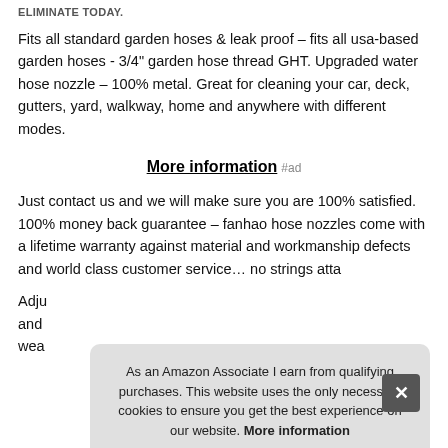ELIMINATE TODAY.
Fits all standard garden hoses & leak proof – fits all usa-based garden hoses - 3/4" garden hose thread GHT. Upgraded water hose nozzle – 100% metal. Great for cleaning your car, deck, gutters, yard, walkway, home and anywhere with different modes.
More information #ad
Just contact us and we will make sure you are 100% satisfied. 100% money back guarantee – fanhao hose nozzles come with a lifetime warranty against material and workmanship defects and world class customer service… no strings atta
Adju and wea
As an Amazon Associate I earn from qualifying purchases. This website uses the only necessary cookies to ensure you get the best experience on our website. More information